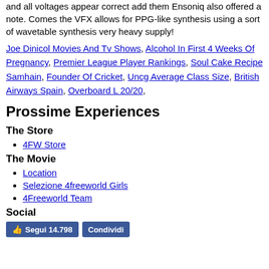and all voltages appear correct add them Ensoniq also offered a note. Comes the VFX allows for PPG-like synthesis using a sort of wavetable synthesis very heavy supply!
Joe Dinicol Movies And Tv Shows, Alcohol In First 4 Weeks Of Pregnancy, Premier League Player Rankings, Soul Cake Recipe Samhain, Founder Of Cricket, Uncg Average Class Size, British Airways Spain, Overboard L 20/20,
Prossime Experiences
The Store
4FW Store
The Movie
Location
Selezione 4freeworld Girls
4Freeworld Team
Social
[Figure (other): Facebook Segui and Condividi buttons]